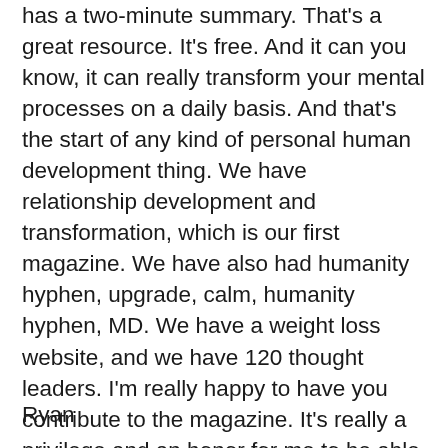has a two-minute summary. That's a great resource. It's free. And it can you know, it can really transform your mental processes on a daily basis. And that's the start of any kind of personal human development thing. We have relationship development and transformation, which is our first magazine. We have also had humanity hyphen, upgrade, calm, humanity hyphen, MD. We have a weight loss website, and we have 120 thought leaders. I'm really happy to have you contribute to the magazine. It's really a privilege and an honor for me to be able to communicate with your people with people like you and through the magazine. And yeah, I really like what you're doing here. I really appreciate it.
Ryan